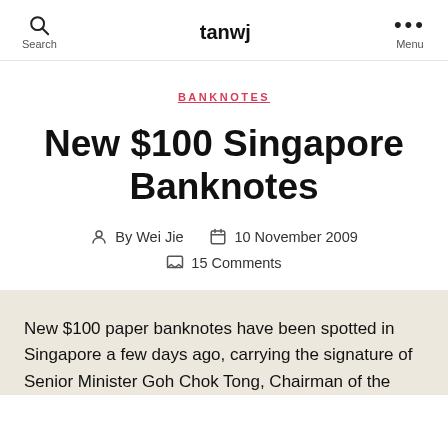tanwj
BANKNOTES
New $100 Singapore Banknotes
By Wei Jie   10 November 2009   15 Comments
New $100 paper banknotes have been spotted in Singapore a few days ago, carrying the signature of Senior Minister Goh Chok Tong, Chairman of the